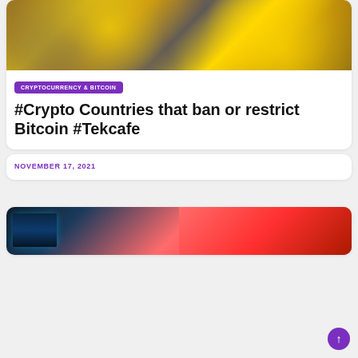[Figure (photo): Cryptocurrency coins including Bitcoin, Ethereum, and other altcoins, gold-colored with crypto logos, dark background]
CRYPTOCURRENCY & BITCOIN
#Crypto Countries that ban or restrict Bitcoin #Tekcafe
NOVEMBER 17, 2021
[Figure (photo): Computer monitor showing financial/trading charts with teal/cyan screen glow on left, red/pink background on right]